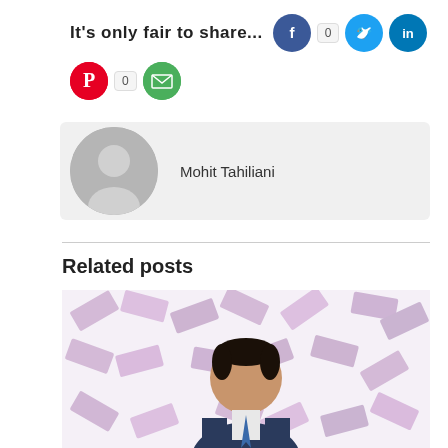It's only fair to share...
[Figure (infographic): Social share buttons: Facebook (with count 0), Twitter, LinkedIn on first row; Pinterest (with count 0), Email on second row]
[Figure (photo): Author avatar placeholder (grey circle with person silhouette) next to author name Mohit Tahiliani on a light grey background]
Mohit Tahiliani
Related posts
[Figure (photo): Photo of a man in a suit standing among flying Indian rupee currency notes against a white background]